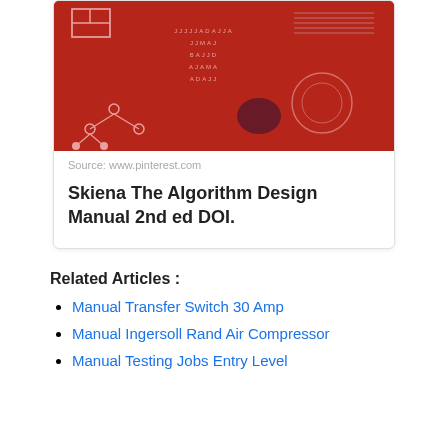[Figure (photo): Red book cover of The Algorithm Design Manual by Skiena, with tree diagram and circuit graphics on a dark red background]
Source: www.pinterest.com
Skiena The Algorithm Design Manual 2nd ed DOI.
Related Articles :
Manual Transfer Switch 30 Amp
Manual Ingersoll Rand Air Compressor
Manual Testing Jobs Entry Level